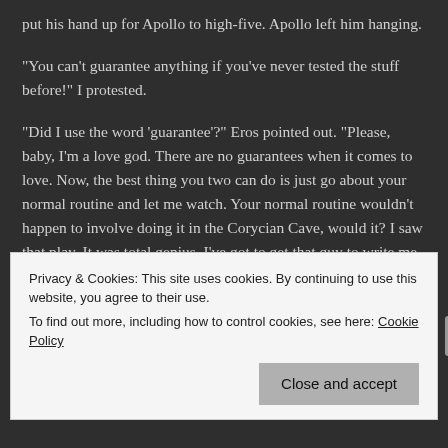put his hand up for Apollo to high-five. Apollo left him hanging.
"You can't guarantee anything if you've never tested the stuff before!" I protested.
"Did I use the word 'guarantee'?" Eros pointed out. "Please, baby, I'm a love god. There are no guarantees when it comes to love. Now, the best thing you two can do is just go about your normal routine and let me watch. Your normal routine wouldn't happen to involve doing it in the Corycian Cave, would it? I saw that play. It was total genius. I've got to get that guy to write me into the sequel."
"Conference," Apollo pulled me aside. He ordered Eros,
Privacy & Cookies: This site uses cookies. By continuing to use this website, you agree to their use.
To find out more, including how to control cookies, see here: Cookie Policy